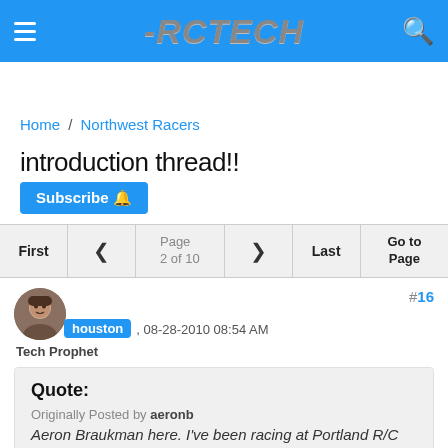RCTECH
Home / Northwest Racers
introduction thread!!
Subscribe
First | < | Page 2 of 10 | > | Last | Go to Page
houston , 08-28-2010 08:54 AM
Tech Prophet
#16
Quote:
Originally Posted by aeronb
Aeron Braukman here. I've been racing at Portland R/C